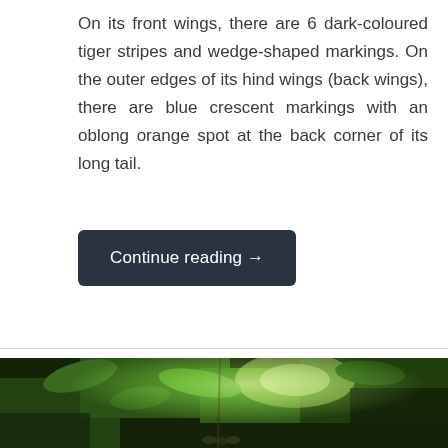On its front wings, there are 6 dark-coloured tiger stripes and wedge-shaped markings. On the outer edges of its hind wings (back wings), there are blue crescent markings with an oblong orange spot at the back corner of its long tail.
Continue reading →
[Figure (photo): Photograph of green leafy foliage with dark background, showing plants and what appears to be a caterpillar or insect among the leaves.]